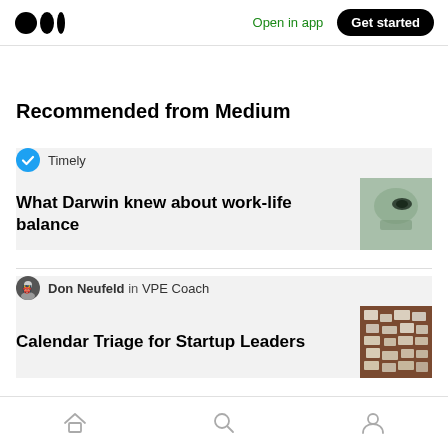Open in app | Get started
Recommended from Medium
Timely
What Darwin knew about work-life balance
[Figure (photo): Close-up black and white photo of a face, eye and cheek visible]
Don Neufeld in VPE Coach
Calendar Triage for Startup Leaders
[Figure (photo): Brown and white image of scattered text/letters pieces]
Home | Search | Profile